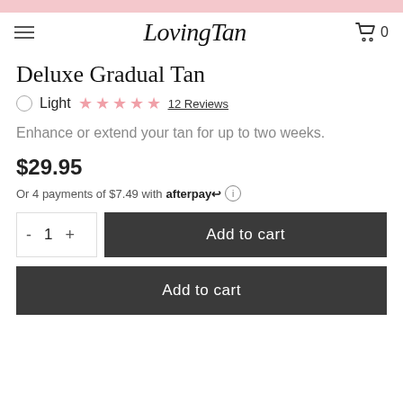LovingTan — Navigation header with hamburger menu and cart
Deluxe Gradual Tan
Light ★★★★★ 12 Reviews
Enhance or extend your tan for up to two weeks.
$29.95
Or 4 payments of $7.49 with afterpay ⓘ
[Figure (screenshot): Quantity selector and Add to cart button]
[Figure (screenshot): Second Add to cart button (full width)]